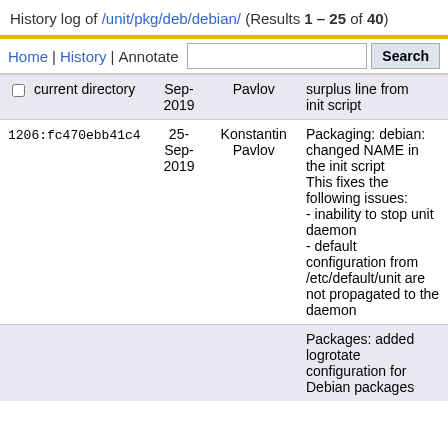History log of /unit/pkg/deb/debian/ (Results 1 – 25 of 40)
Home | History | Annotate  [search box]  Search
☐ current directory | Sep-2019 | Pavlov | surplus line from init script
| Revision | Date | Author | Description |
| --- | --- | --- | --- |
| 1206:fc470ebb41c4 | 25-Sep-2019 | Konstantin Pavlov | Packaging: debian: changed NAME in the init script
This fixes the following issues:
- inability to stop unit daemon
- default configuration from /etc/default/unit are not propagated to the daemon |
|  |  |  | Packages: added logrotate configuration for Debian packages |